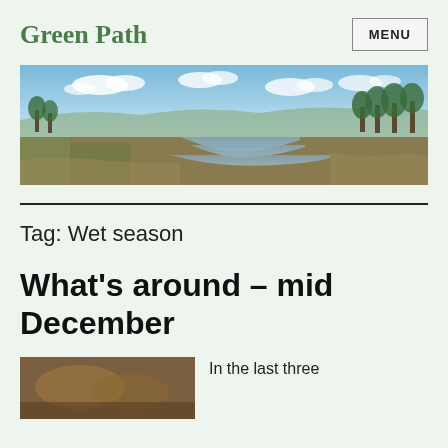Green Path
[Figure (photo): MENU button in bordered box, top right]
[Figure (photo): Panoramic landscape photo of a wetland with water channels, grassland, and trees under a partly cloudy blue sky]
Tag: Wet season
What's around – mid December
[Figure (photo): Small thumbnail photo at bottom left]
In the last three